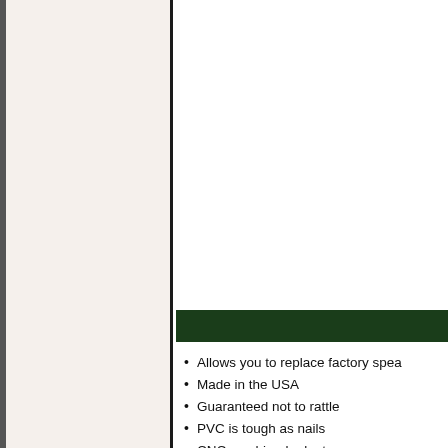[Figure (other): Left panel with beige/tan background separated by a black vertical border from the right content panel]
Allows you to replace factory spea
Made in the USA
Guaranteed not to rattle
PVC is tough as nails
CNC machined adapters ensure a
Will not rot like MDF or wood spe